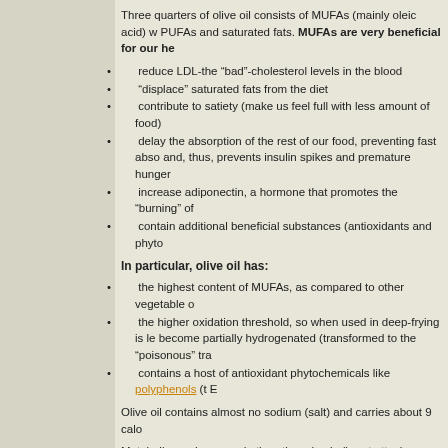Three quarters of olive oil consists of MUFAs (mainly oleic acid) w PUFAs and saturated fats. MUFAs are very beneficial for our he
reduce LDL-the “bad”-cholesterol levels in the blood
“displace” saturated fats from the diet
contribute to satiety (make us feel full with less amount of food)
delay the absorption of the rest of our food, preventing fast abso and, thus, prevents insulin spikes and premature hunger
increase adiponectin, a hormone that promotes the “burning” of
contain additional beneficial substances (antioxidants and phyto
In particular, olive oil has:
the highest content of MUFAs, as compared to other vegetable o
the higher oxidation threshold, so when used in deep-frying is le become partially hydrogenated (transformed to the “poisonous” tra
contains a host of antioxidant phytochemicals like polyphenols (t E
Olive oil contains almost no sodium (salt) and carries about 9 calo
Metabolic syndrome and atherothrombosis (heart attacks, strokes, when our body balance is shifted towards inflammation (proinflam Olive oil helps counteract both morbid states by virtue of its MUFA antioxidants and oleocanthal counteract the neurotoxic effect of the disease. Olive oil also appears to have an anti-aging effect and rec breast, pancreatic, stomach, laryngeal, and urinary tract cancer.